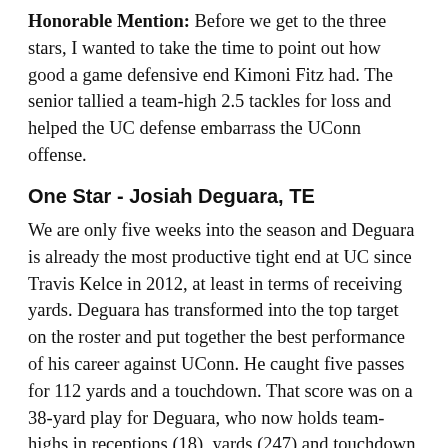Honorable Mention: Before we get to the three stars, I wanted to take the time to point out how good a game defensive end Kimoni Fitz had. The senior tallied a team-high 2.5 tackles for loss and helped the UC defense embarrass the UConn offense.
One Star - Josiah Deguara, TE
We are only five weeks into the season and Deguara is already the most productive tight end at UC since Travis Kelce in 2012, at least in terms of receiving yards. Deguara has transformed into the top target on the roster and put together the best performance of his career against UConn. He caught five passes for 112 yards and a touchdown. That score was on a 38-yard play for Deguara, who now holds team-highs in receptions (18), yards (247) and touchdown grabs (3).
Two Stars - Michael Warren, RB